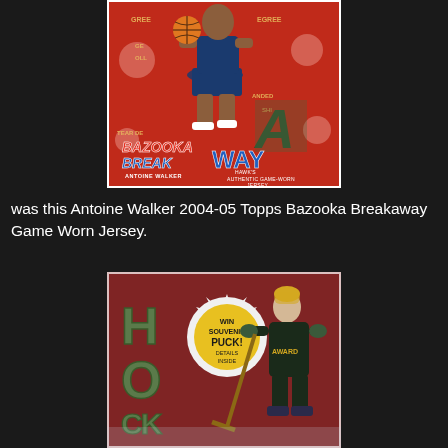[Figure (photo): Antoine Walker 2004-05 Topps Bazooka Breakaway Game Worn Jersey trading card showing a basketball player dunking on a red background with comic-style artwork and 'Bazooka Break Away' text with an embedded jersey swatch]
was this Antoine Walker 2004-05 Topps Bazooka Breakaway Game Worn Jersey.
[Figure (photo): Hockey themed trading card or game piece with dark red background showing 'HOCK' letters in green, a hockey player figure in dark uniform labeled 'AWARD', and a circular badge reading 'WIN SOUVENIR PUCK! DETAILS INSIDE']